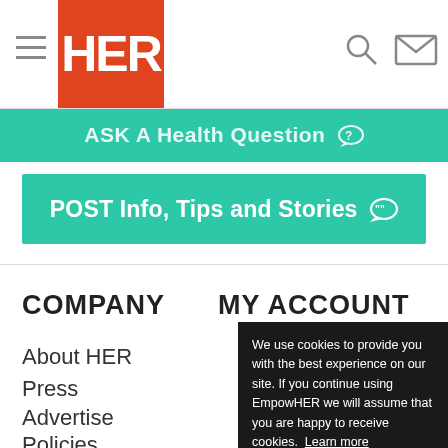HER - Ask A Health Question | POST Info, Tips and Stories
ASK A Health Question
POST Info, Tips and Stories
COMPANY
MY ACCOUNT
About HER
Press
Advertise
Policies
We use cookies to provide you with the best experience on our site. If you continue using EmpowHER we will assume that you are happy to receive cookies. Learn more  Got it!